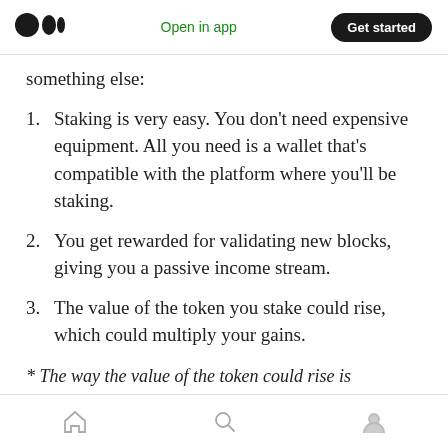Open in app  Get started
something else:
1. Staking is very easy. You don't need expensive equipment. All you need is a wallet that's compatible with the platform where you'll be staking.
2. You get rewarded for validating new blocks, giving you a passive income stream.
3. The value of the token you stake could rise, which could multiply your gains.
* The way the value of the token could rise is